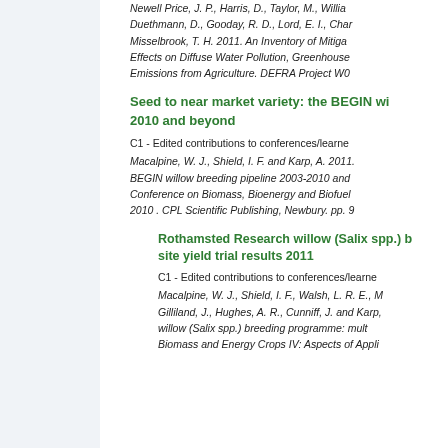Newell Price, J. P., Harris, D., Taylor, M., Willia Duethmann, D., Gooday, R. D., Lord, E. I., Char Misselbrook, T. H. 2011. An Inventory of Mitiga Effects on Diffuse Water Pollution, Greenhouse Emissions from Agriculture. DEFRA Project W0
Seed to near market variety: the BEGIN wi 2010 and beyond
C1 - Edited contributions to conferences/learne
Macalpine, W. J., Shield, I. F. and Karp, A. 2011. BEGIN willow breeding pipeline 2003-2010 and Conference on Biomass, Bioenergy and Biofuel 2010 . CPL Scientific Publishing, Newbury. pp. 9
Rothamsted Research willow (Salix spp.) b site yield trial results 2011
C1 - Edited contributions to conferences/learne
Macalpine, W. J., Shield, I. F., Walsh, L. R. E., M Gilliland, J., Hughes, A. R., Cunniff, J. and Karp, willow (Salix spp.) breeding programme: mult Biomass and Energy Crops IV: Aspects of Appli